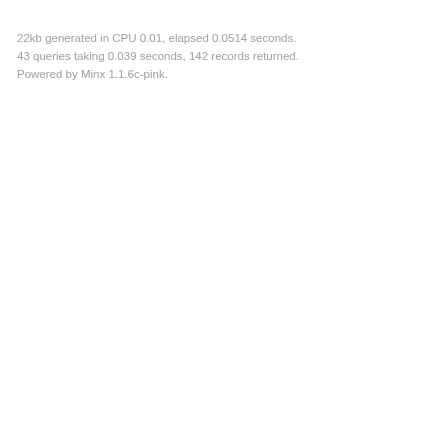22kb generated in CPU 0.01, elapsed 0.0514 seconds.
43 queries taking 0.039 seconds, 142 records returned.
Powered by Minx 1.1.6c-pink.